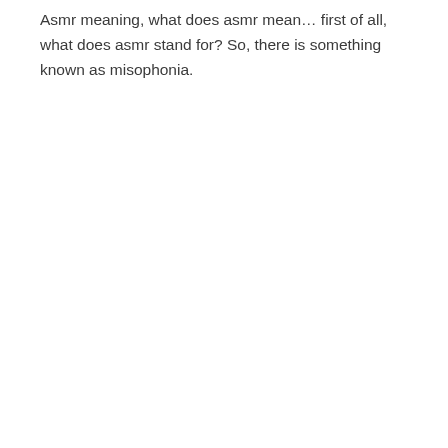Asmr meaning, what does asmr mean… first of all, what does asmr stand for? So, there is something known as misophonia.